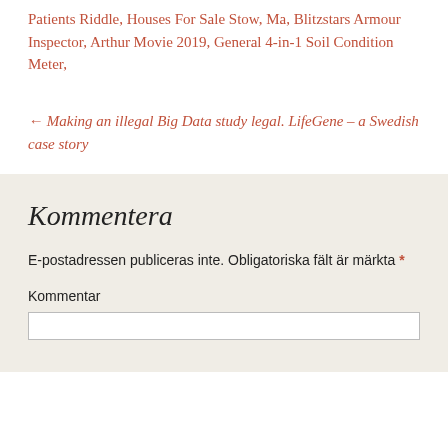Patients Riddle, Houses For Sale Stow, Ma, Blitzstars Armour Inspector, Arthur Movie 2019, General 4-in-1 Soil Condition Meter,
← Making an illegal Big Data study legal. LifeGene – a Swedish case story
Kommentera
E-postadressen publiceras inte. Obligatoriska fält är märkta *
Kommentar